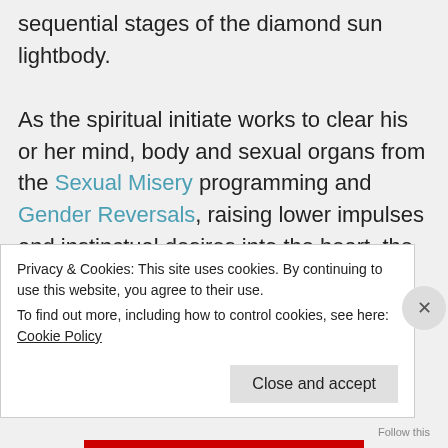sequential stages of the diamond sun lightbody.

As the spiritual initiate works to clear his or her mind, body and sexual organs from the Sexual Misery programming and Gender Reversals, raising lower impulses and instinctual desires into the heart, the reproductive organs function at a higher energetic level to co-create these new lotus heart flowers. This new planetary architectural configuration is changing how male-female
Privacy & Cookies: This site uses cookies. By continuing to use this website, you agree to their use.
To find out more, including how to control cookies, see here: Cookie Policy